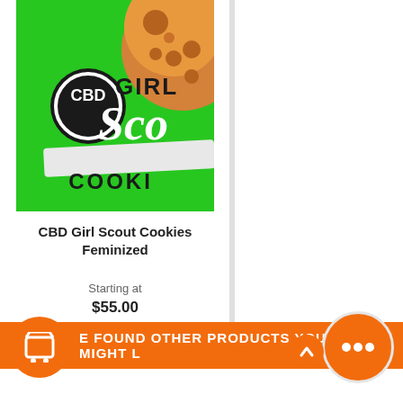[Figure (illustration): CBD Girl Scout Cookies Feminized product packaging image on green background with cookie graphics and CBD logo]
CBD Girl Scout Cookies Feminized
Starting at
$55.00
E FOUND OTHER PRODUCTS YOU MIGHT L